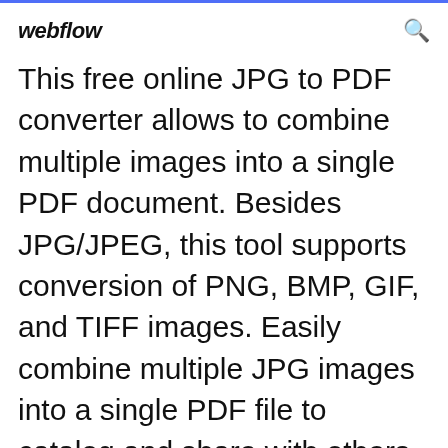webflow
This free online JPG to PDF converter allows to combine multiple images into a single PDF document. Besides JPG/JPEG, this tool supports conversion of PNG, BMP, GIF, and TIFF images. Easily combine multiple JPG images into a single PDF file to catalog and share with others. No limit in file size, no registration, no watermark. This service automatically rotates, optimizes and scales down